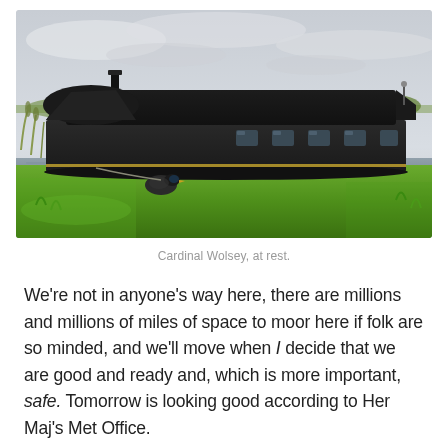[Figure (photo): A dark/black narrowboat (canal boat) named Cardinal Wolsey moored beside a lush green grassy bank on a canal or waterway. The sky is overcast and grey. A bird can be seen near the bow of the boat on the grass.]
Cardinal Wolsey, at rest.
We're not in anyone's way here, there are millions and millions of miles of space to moor here if folk are so minded, and we'll move when I decide that we are good and ready and, which is more important, safe. Tomorrow is looking good according to Her Maj's Met Office.